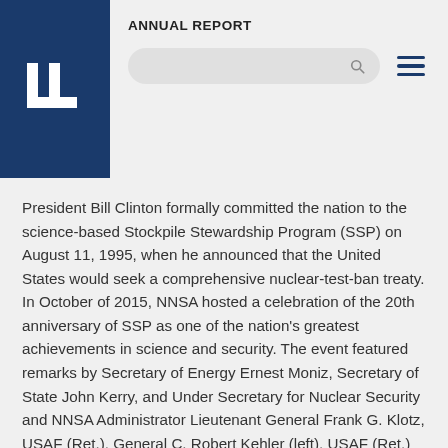ANNUAL REPORT
President Bill Clinton formally committed the nation to the science-based Stockpile Stewardship Program (SSP) on August 11, 1995, when he announced that the United States would seek a comprehensive nuclear-test-ban treaty. In October of 2015, NNSA hosted a celebration of the 20th anniversary of SSP as one of the nation's greatest achievements in science and security. The event featured remarks by Secretary of Energy Ernest Moniz, Secretary of State John Kerry, and Under Secretary for Nuclear Security and NNSA Administrator Lieutenant General Frank G. Klotz, USAF (Ret.). General C. Robert Kehler (left), USAF (Ret.) and former commander of U.S. Strategic Command, led a panel discussion with the three NNSA national laboratory directors (left to right, Charles McMillan, Jill Hruby, and William Goldstein).